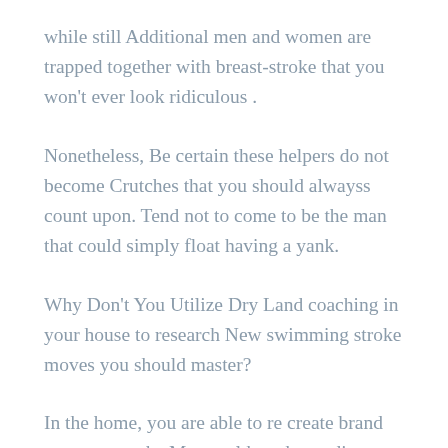while still Additional men and women are trapped together with breast-stroke that you won't ever look ridiculous .
Nonetheless, Be certain these helpers do not become Crutches that you should alwayss count upon. Tend not to come to be the man that could simply float having a yank.
Why Don't You Utilize Dry Land coaching in your house to research New swimming stroke moves you should master?
In the home, you are able to re create brand new arm stroke Moves although standing or leg motions while lying or sitting on floor with no anyone viewing.